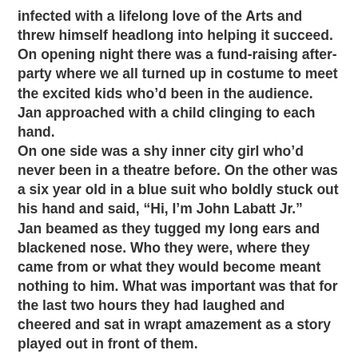infected with a lifelong love of the Arts and threw himself headlong into helping it succeed.
On opening night there was a fund-raising after-party where we all turned up in costume to meet the excited kids who'd been in the audience. Jan approached with a child clinging to each hand.
On one side was a shy inner city girl who'd never been in a theatre before. On the other was a six year old in a blue suit who boldly stuck out his hand and said, “Hi, I’m John Labatt Jr.”
Jan beamed as they tugged my long ears and blackened nose. Who they were, where they came from or what they would become meant nothing to him. What was important was that for the last two hours they had laughed and cheered and sat in wrapt amazement as a story played out in front of them.
He knew they would both be back. And I think in that moment, watching his eyes dance as he watched them, I did too. His gift had been shared once more -– as it was.